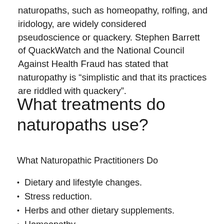naturopaths, such as homeopathy, rolfing, and iridology, are widely considered pseudoscience or quackery. Stephen Barrett of QuackWatch and the National Council Against Health Fraud has stated that naturopathy is “simplistic and that its practices are riddled with quackery”.
What treatments do naturopaths use?
What Naturopathic Practitioners Do
Dietary and lifestyle changes.
Stress reduction.
Herbs and other dietary supplements.
Homeopathy.